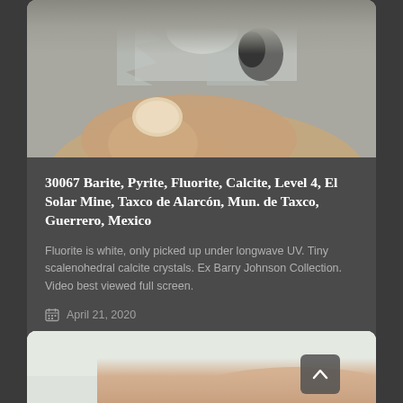[Figure (photo): Close-up photo of a hand holding a mineral specimen with crystalline/glassy texture, likely barite or fluorite crystals, against a neutral background]
30067 Barite, Pyrite, Fluorite, Calcite, Level 4, El Solar Mine, Taxco de Alarcón, Mun. de Taxco, Guerrero, Mexico
Fluorite is white, only picked up under longwave UV. Tiny scalenohedral calcite crystals. Ex Barry Johnson Collection. Video best viewed full screen.
April 21, 2020
[Figure (photo): Partial view of another mineral specimen photo at the bottom of the page, showing a hand holding something against a light greenish-gray background]